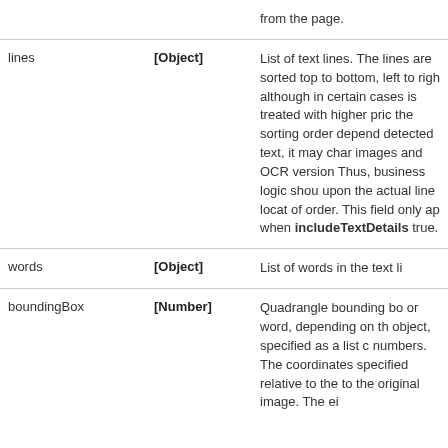| Field | Type | Description |
| --- | --- | --- |
|  |  | from the page. |
| lines | [Object] | List of text lines. The lines are sorted top to bottom, left to right, although in certain cases proximity is treated with higher priority and the sorting order depends on the detected text, it may change across images and OCR versions. Thus, business logic should not rely upon the actual line location to be of order. This field only appears when includeTextDetails is true. |
| words | [Object] | List of words in the text li... |
| boundingBox | [Number] | Quadrangle bounding bo... or word, depending on th... object, specified as a list o... numbers. The coordinates... specified relative to the to... the original image. The ei... |